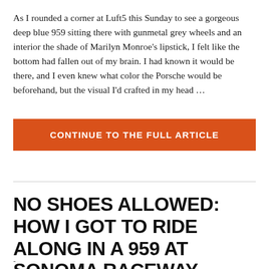As I rounded a corner at Luft5 this Sunday to see a gorgeous deep blue 959 sitting there with gunmetal grey wheels and an interior the shade of Marilyn Monroe's lipstick, I felt like the bottom had fallen out of my brain. I had known it would be there, and I even knew what color the Porsche would be beforehand, but the visual I'd crafted in my head …
CONTINUE TO THE FULL ARTICLE
NO SHOES ALLOWED: HOW I GOT TO RIDE ALONG IN A 959 AT SONOMA RACEWAY
-